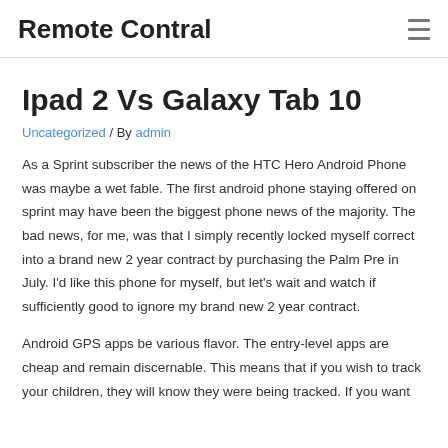Remote Contral
Ipad 2 Vs Galaxy Tab 10
Uncategorized / By admin
As a Sprint subscriber the news of the HTC Hero Android Phone was maybe a wet fable. The first android phone staying offered on sprint may have been the biggest phone news of the majority. The bad news, for me, was that I simply recently locked myself correct into a brand new 2 year contract by purchasing the Palm Pre in July. I'd like this phone for myself, but let's wait and watch if sufficiently good to ignore my brand new 2 year contract.
Android GPS apps be various flavor. The entry-level apps are cheap and remain discernable. This means that if you wish to track your children, they will know they were being tracked. If you want